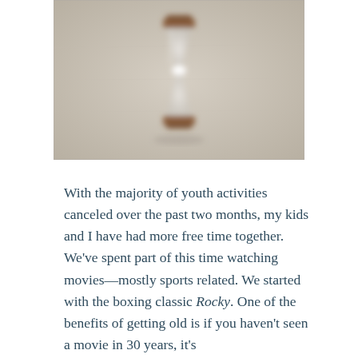[Figure (photo): A blurred photograph of a wooden hourglass on a surface, with a soft beige/grey background. The hourglass has wooden top and bottom pieces and glass in the middle with white sand.]
With the majority of youth activities canceled over the past two months, my kids and I have had more free time together. We've spent part of this time watching movies—mostly sports related. We started with the boxing classic Rocky. One of the benefits of getting old is if you haven't seen a movie in 30 years, it's